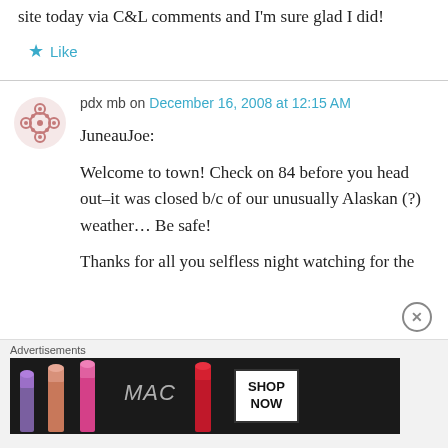site today via C&L comments and I'm sure glad I did!
Like
pdx mb on December 16, 2008 at 12:15 AM
JuneauJoe:

Welcome to town! Check on 84 before you head out–it was closed b/c of our unusually Alaskan (?) weather… Be safe!

Thanks for all you selfless night watching for the
[Figure (advertisement): MAC cosmetics advertisement showing lipsticks with SHOP NOW text]
Advertisements